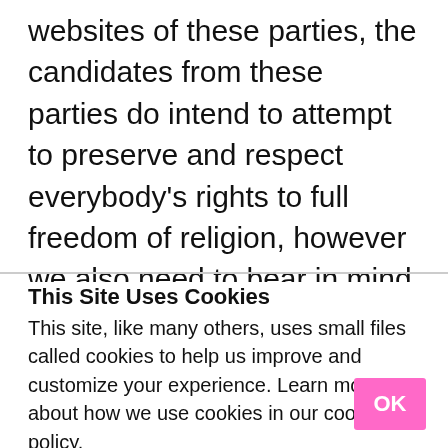websites of these parties, the candidates from these parties do intend to attempt to preserve and respect everybody's rights to full freedom of religion, however we also need to bear in mind that part of the goal of these parties is to propose, enact and enforce legislation which is intended to erode
This Site Uses Cookies
This site, like many others, uses small files called cookies to help us improve and customize your experience. Learn more about how we use cookies in our cookie policy.